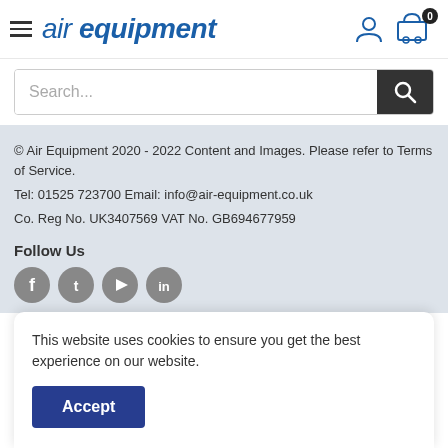[Figure (logo): Air Equipment logo with hamburger menu icon, user icon, and cart icon (0 items)]
[Figure (screenshot): Search input bar with placeholder text 'Search...' and dark search button with magnifying glass icon]
© Air Equipment 2020 - 2022 Content and Images. Please refer to Terms of Service.
Tel: 01525 723700 Email: info@air-equipment.co.uk
Co. Reg No. UK3407569 VAT No. GB694677959
Follow Us
[Figure (illustration): Four social media icons: Facebook, Twitter, YouTube, LinkedIn — grey circular icons]
This website uses cookies to ensure you get the best experience on our website.
Accept